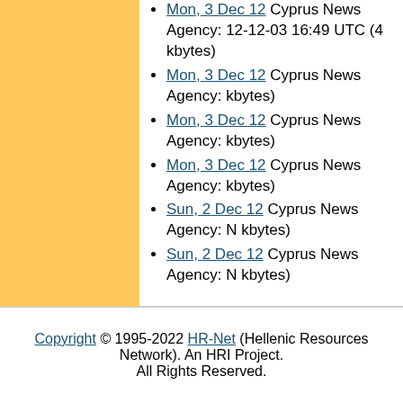Mon, 3 Dec 12 Cyprus News Agency: 12-12-03 16:49 UTC (4 kbytes)
Mon, 3 Dec 12 Cyprus News Agency: kbytes)
Mon, 3 Dec 12 Cyprus News Agency: kbytes)
Mon, 3 Dec 12 Cyprus News Agency: kbytes)
Sun, 2 Dec 12 Cyprus News Agency: N kbytes)
Sun, 2 Dec 12 Cyprus News Agency: N kbytes)
Sun, 2 Dec 12 Cyprus News Agency: N 12-02 09:49 UTC (4 kbytes)
Sun, 2 Dec 12 Cyprus News Agency: N kbytes)
Sat, 1 Dec 12 Cyprus News Agency: N 12-01 12:49 UTC (4 kbytes)
Sat, 1 Dec 12 Cyprus News Agency: N kbytes)
Copyright © 1995-2022 HR-Net (Hellenic Resources Network). An HRI Project. All Rights Reserved.